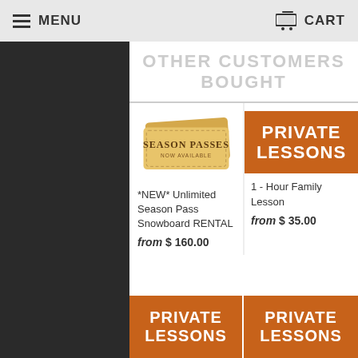MENU   CART
OTHER CUSTOMERS BOUGHT
[Figure (illustration): Season Passes Now Available — golden ticket-style graphic]
[Figure (other): Private Lessons orange button graphic]
*NEW* Unlimited Season Pass Snowboard RENTAL
from $ 160.00
1 - Hour Family Lesson
from $ 35.00
[Figure (other): Private Lessons orange button graphic (bottom left)]
[Figure (other): Private Lessons orange button graphic (bottom right)]